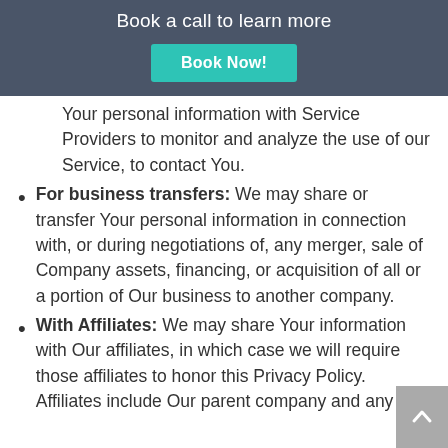Book a call to learn more
Book Now!
Your personal information with Service Providers to monitor and analyze the use of our Service, to contact You.
For business transfers: We may share or transfer Your personal information in connection with, or during negotiations of, any merger, sale of Company assets, financing, or acquisition of all or a portion of Our business to another company.
With Affiliates: We may share Your information with Our affiliates, in which case we will require those affiliates to honor this Privacy Policy. Affiliates include Our parent company and any